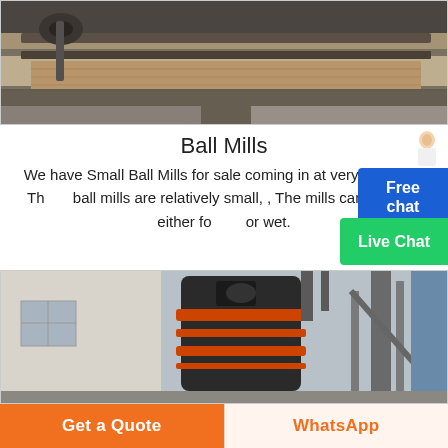[Figure (photo): Industrial machinery photo showing metal rails/beams and mechanical components from above]
Ball Mills
We have Small Ball Mills for sale coming in at very good pric The ball mills are relatively small, , The mills can be used either for or wet.
[Figure (photo): Industrial ball mill or grinding mill equipment, large black cylindrical machine with orange bands, in a factory/warehouse setting]